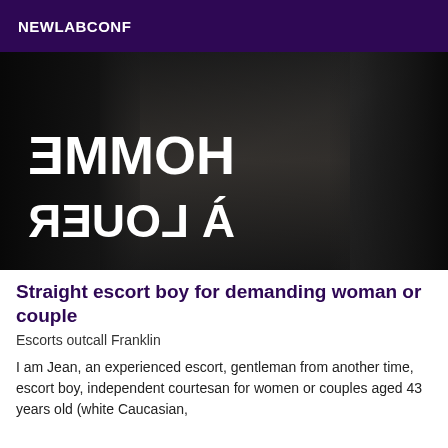NEWLABCONF
[Figure (photo): Dark photograph of a person in black clothing with mirrored/reversed text overlay reading 'HOMME À LOUER' (Man for Rent in French), displayed in large bold white letters mirrored horizontally.]
Straight escort boy for demanding woman or couple
Escorts outcall Franklin
I am Jean, an experienced escort, gentleman from another time, escort boy, independent courtesan for women or couples aged 43 years old (white Caucasian,